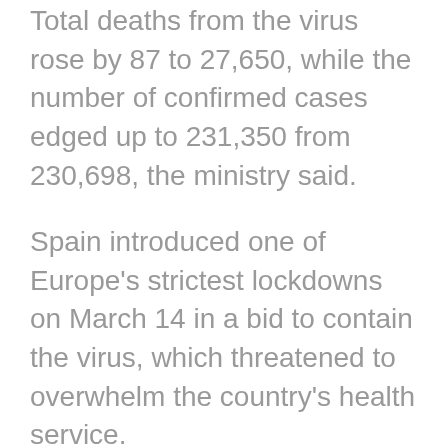Total deaths from the virus rose by 87 to 27,650, while the number of confirmed cases edged up to 231,350 from 230,698, the ministry said.
Spain introduced one of Europe's strictest lockdowns on March 14 in a bid to contain the virus, which threatened to overwhelm the country's health service.
As the population has remained largely confined to their homes, the rate of new infections and fatalities has steadily fallen, prompting the government to begin unwinding the